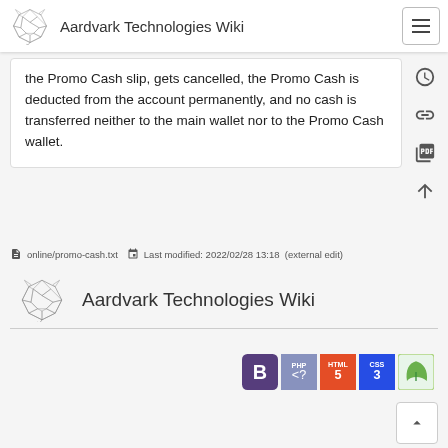Aardvark Technologies Wiki
the Promo Cash slip, gets cancelled, the Promo Cash is deducted from the account permanently, and no cash is transferred neither to the main wallet nor to the Promo Cash wallet.
online/promo-cash.txt  Last modified: 2022/02/28 13:18  (external edit)
[Figure (logo): Aardvark Technologies Wiki footer logo with aardvark geometric illustration and site title]
[Figure (infographic): Technology badges: Bootstrap B, PHP, HTML5, CSS3, and a green leaf/eco icon]